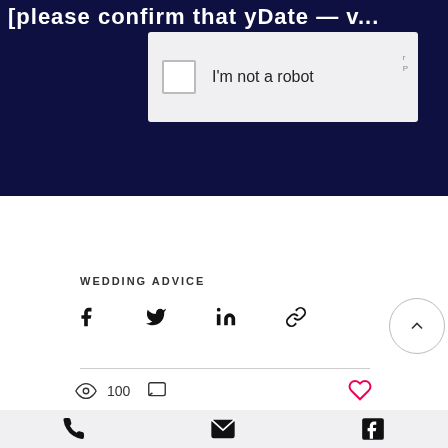[Figure (screenshot): Dark navy background section with truncated white bold text at top and a reCAPTCHA widget showing 'I'm not a robot' checkbox]
WEDDING ADVICE
[Figure (infographic): Social share icons: Facebook, Twitter, LinkedIn, link/chain icon, and a scroll-to-top circle button with chevron]
100
[Figure (infographic): Bottom bar with phone, email, and Facebook icons]